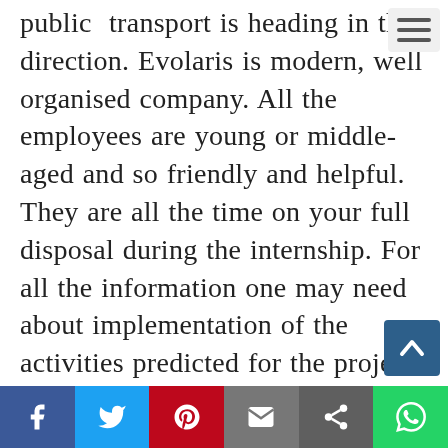public transport is heading in that direction. Evolaris is modern, well organised company. All the employees are young or middle-aged and so friendly and helpful. They are all the time on your full disposal during the internship. For all the information one may need about implementation of the activities predicted for the project, I could ask the employees working in those activities and receive adequate answers. Also after work, we used to spend time together doing some sports or